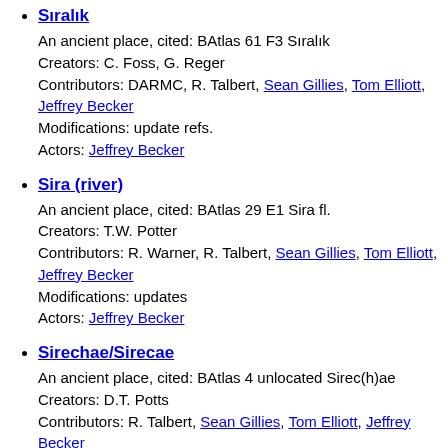Sıralık
An ancient place, cited: BAtlas 61 F3 Sıralık
Creators: C. Foss, G. Reger
Contributors: DARMC, R. Talbert, Sean Gillies, Tom Elliott, Jeffrey Becker
Modifications: update refs.
Actors: Jeffrey Becker
Sira (river)
An ancient place, cited: BAtlas 29 E1 Sira fl.
Creators: T.W. Potter
Contributors: R. Warner, R. Talbert, Sean Gillies, Tom Elliott, Jeffrey Becker
Modifications: updates
Actors: Jeffrey Becker
Sirechae/Sirecae
An ancient place, cited: BAtlas 4 unlocated Sirec(h)ae
Creators: D.T. Potts
Contributors: R. Talbert, Sean Gillies, Tom Elliott, Jeffrey Becker
Modifications: updates
Actors: Jeffrey Becker
Siranea, T...